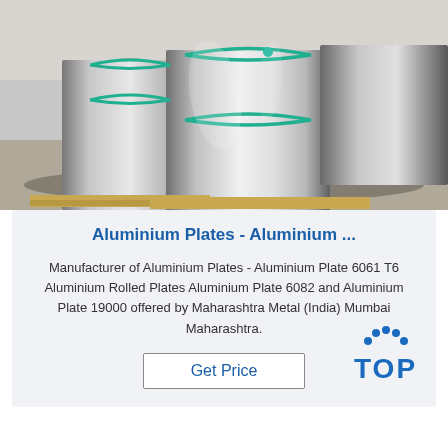[Figure (photo): Large aluminium coils/rolls stored in a warehouse on wooden pallets, with teal/green binding straps around them. The coils are shiny silver metallic.]
Aluminium Plates - Aluminium ...
Manufacturer of Aluminium Plates - Aluminium Plate 6061 T6 Aluminium Rolled Plates Aluminium Plate 6082 and Aluminium Plate 19000 offered by Maharashtra Metal (India) Mumbai Maharashtra.
Get Price
[Figure (logo): TOP logo with blue dotted arc above the letters T O P in blue]